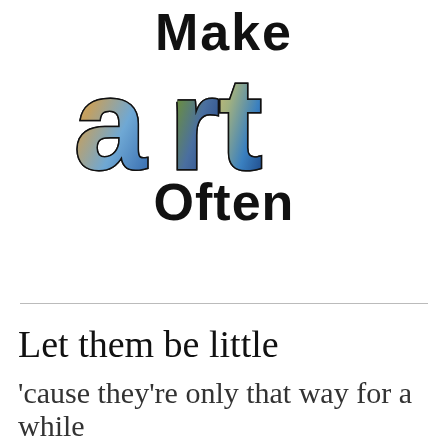Make art Often
[Figure (illustration): Decorative letters 'art' filled with colorful abstract painting textures (blues, golds, greens), forming the word 'art' as a stylized graphic image]
Let them be little
'cause they're only that way for a while